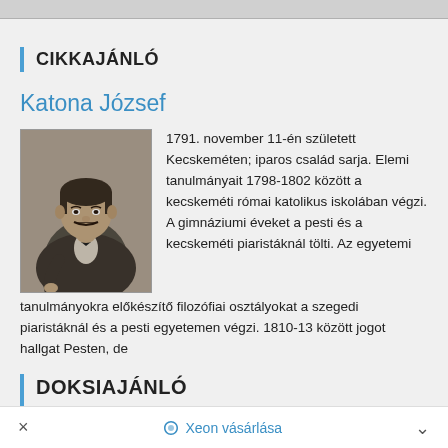CIKKAJÁNLÓ
Katona József
[Figure (photo): Black and white portrait photograph of Katona József, a man in 19th century clothing with a mustache, standing posed.]
1791. november 11-én született Kecskeméten; iparos család sarja. Elemi tanulmányait 1798-1802 között a kecskeméti római katolikus iskolában végzi. A gimnáziumi éveket a pesti és a kecskeméti piaristáknál tölti. Az egyetemi tanulmányokra előkészítő filozófiai osztályokat a szegedi piaristáknál és a pesti egyetemen végzi. 1810-13 között jogot hallgat Pesten, de
DOKSIAJÁNLÓ
× Xeon vásárlása ^